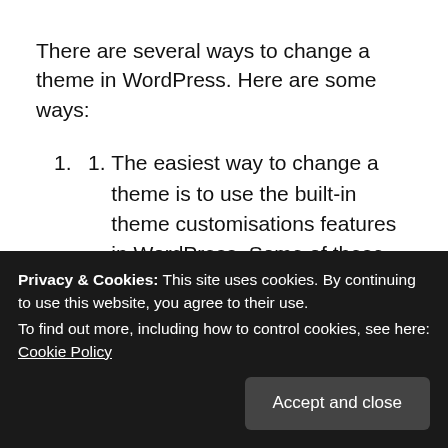There are several ways to change a theme in WordPress. Here are some ways:
The easiest way to change a theme is to use the built-in theme customisations features in WordPress. Some of these were described in Part 2.
Select a new existing theme from the admin interface. There are many free and commercial themes available.
Copy an existing theme and edit it to be the way you want it to be.
Privacy & Cookies: This site uses cookies. By continuing to use this website, you agree to their use.
To find out more, including how to control cookies, see here: Cookie Policy